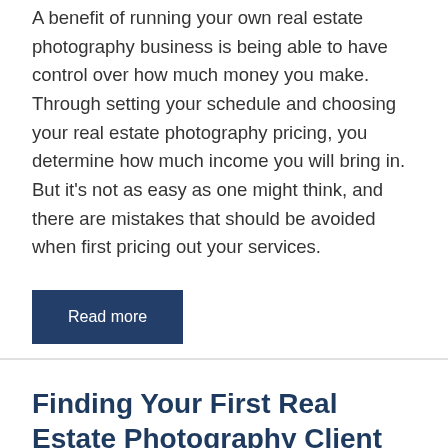A benefit of running your own real estate photography business is being able to have control over how much money you make. Through setting your schedule and choosing your real estate photography pricing, you determine how much income you will bring in. But it's not as easy as one might think, and there are mistakes that should be avoided when first pricing out your services.
Read more
Finding Your First Real Estate Photography Client